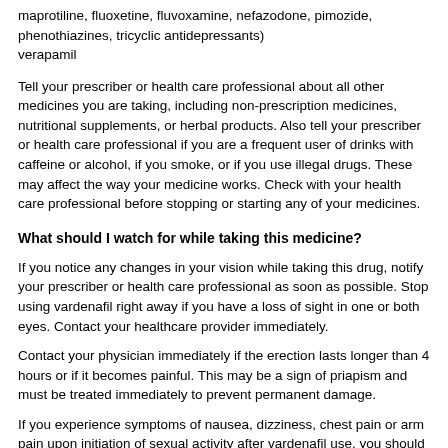maprotiline, fluoxetine, fluvoxamine, nefazodone, pimozide, phenothiazines, tricyclic antidepressants)
verapamil
Tell your prescriber or health care professional about all other medicines you are taking, including non-prescription medicines, nutritional supplements, or herbal products. Also tell your prescriber or health care professional if you are a frequent user of drinks with caffeine or alcohol, if you smoke, or if you use illegal drugs. These may affect the way your medicine works. Check with your health care professional before stopping or starting any of your medicines.
What should I watch for while taking this medicine?
If you notice any changes in your vision while taking this drug, notify your prescriber or health care professional as soon as possible. Stop using vardenafil right away if you have a loss of sight in one or both eyes. Contact your healthcare provider immediately.
Contact your physician immediately if the erection lasts longer than 4 hours or if it becomes painful. This may be a sign of priapism and must be treated immediately to prevent permanent damage.
If you experience symptoms of nausea, dizziness, chest pain or arm pain upon initiation of sexual activity after vardenafil use, you should refrain from further activity and discuss the episode with your prescriber or health care professional immediately.